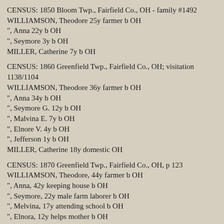CENSUS: 1850 Bloom Twp., Fairfield Co., OH - family #1492
WILLIAMSON, Theodore 25y farmer b OH
", Anna 22y b OH
", Seymore 3y b OH
MILLER, Catherine 7y b OH
CENSUS: 1860 Greenfield Twp., Fairfield Co., OH; visitation 1138/1104
WILLIAMSON, Theodore 36y farmer b OH
", Anna 34y b OH
", Seymore G. 12y b OH
", Malvina E. 7y b OH
", Elnore V. 4y b OH
", Jefferson 1y b OH
MILLER, Catherine 18y domestic OH
CENSUS: 1870 Greenfield Twp., Fairfield Co., OH, p 123
WILLIAMSON, Theodore, 44y farmer b OH
", Anna, 42y keeping house b OH
", Seymore, 22y male farm laborer b OH
", Melvina, 17y attending school b OH
", Elnora, 12y helps mother b OH
", Charley 9y attending school b OH
", Ville E., 5y at home b OH
SCOTT, Catharine, 29y domestic servant b OH